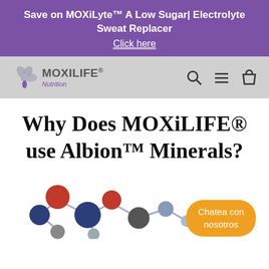Save on MOXiLyte™ A Low Sugar| Electrolyte Sweat Replacer
Click here
[Figure (logo): MOXiLIFE Nutrition logo with purple flower-like icon]
Why Does MOXiLIFE® use Albion™ Minerals?
[Figure (illustration): 3D molecular structure model with red, dark blue, light gray spheres connected by bonds]
Chatea con nosotros